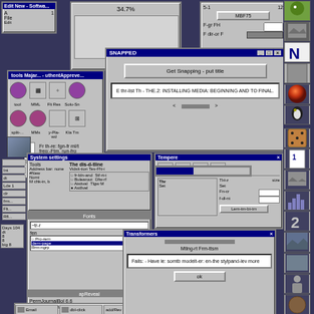[Figure (screenshot): A composite screenshot showing multiple overlapping Windows 95/98 style dialog boxes, application windows, and desktop icons. The top half shows a software installer or application dialog with a large text message and navigation controls. The bottom half shows system settings windows including appearance/style editors, font selectors, and a completion dialog. On the right side is a vertical strip of desktop application icons. The windows feature classic Windows gray UI with blue title bars.]